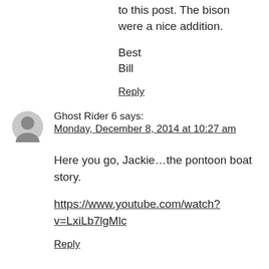to this post. The bison were a nice addition.
Best
Bill
Reply
Ghost Rider 6 says:
Monday, December 8, 2014 at 10:27 am
Here you go, Jackie…the pontoon boat story.
https://www.youtube.com/watch?v=LxiLb7lgMlc
Reply